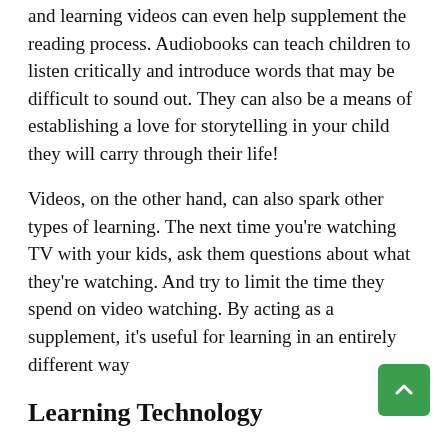and learning videos can even help supplement the reading process. Audiobooks can teach children to listen critically and introduce words that may be difficult to sound out. They can also be a means of establishing a love for storytelling in your child they will carry through their life!
Videos, on the other hand, can also spark other types of learning. The next time you're watching TV with your kids, ask them questions about what they're watching. And try to limit the time they spend on video watching. By acting as a supplement, it's useful for learning in an entirely different way
Learning Technology